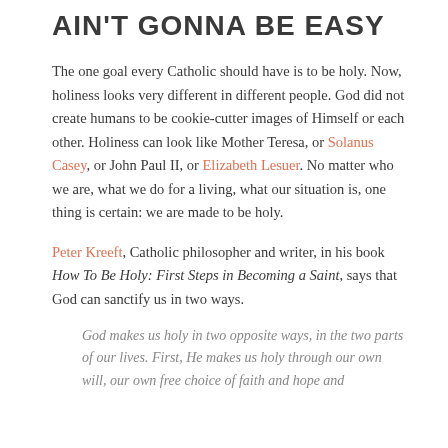AIN'T GONNA BE EASY
The one goal every Catholic should have is to be holy. Now, holiness looks very different in different people. God did not create humans to be cookie-cutter images of Himself or each other. Holiness can look like Mother Teresa, or Solanus Casey, or John Paul II, or Elizabeth Lesuer. No matter who we are, what we do for a living, what our situation is, one thing is certain: we are made to be holy.
Peter Kreeft, Catholic philosopher and writer, in his book How To Be Holy: First Steps in Becoming a Saint, says that God can sanctify us in two ways.
God makes us holy in two opposite ways, in the two parts of our lives. First, He makes us holy through our own will, our own free choice of faith and hope and